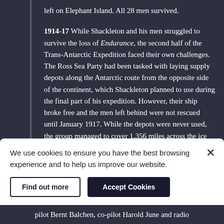left on Elephant Island. All 28 men survived.
1914-17 While Shackleton and his men struggled to survive the loss of Endurance, the second half of the Trans-Antarctic Expedition faced their own challenges. The Ross Sea Party had been tasked with laying supply depots along the Antarctic route from the opposite side of the continent, which Shackleton planned to use during the final part of his expedition. However, their ship broke free and the men left behind were not rescued until January 1917. While the depots were never used, the group managed to cover 1,356 miles across the ice laying supplies. Three men died during the expedition
We use cookies to ensure you have the best browsing experience and to help us improve our website.
pilot Bernt Balchen, co-pilot Harold June and radio